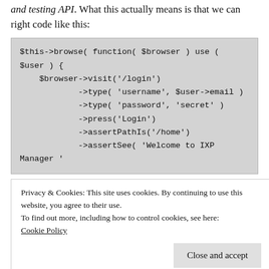and testing API. What this actually means is that we can right code like this:
$this->browse( function( $browser ) use (
$user ) {
    $browser->visit('/login')
            ->type( 'username', $user->email )
            ->type( 'password', 'secret' )
            ->press('Login')
            ->assertPathIs('/home')
            ->assertSee( 'Welcome to IXP Manager '
Privacy & Cookies: This site uses cookies. By continuing to use this website, you agree to their use.
To find out more, including how to control cookies, see here: Cookie Policy
aspects of a member interface and all aspects of